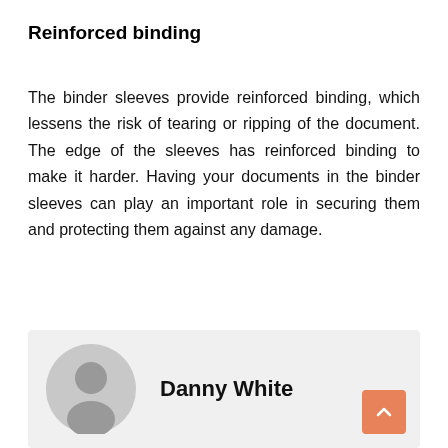Reinforced binding
The binder sleeves provide reinforced binding, which lessens the risk of tearing or ripping of the document. The edge of the sleeves has reinforced binding to make it harder. Having your documents in the binder sleeves can play an important role in securing them and protecting them against any damage.
[Figure (illustration): Author card with gray avatar icon placeholder and author name 'Danny White']